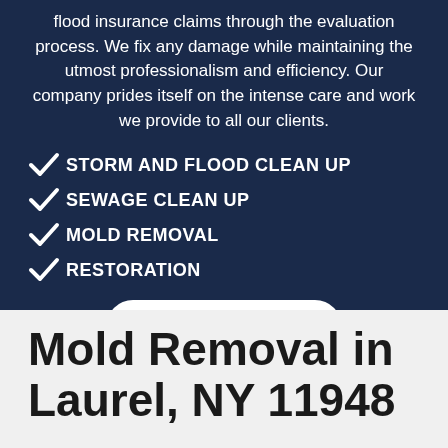flood insurance claims through the evaluation process. We fix any damage while maintaining the utmost professionalism and efficiency. Our company prides itself on the intense care and work we provide to all our clients.
STORM AND FLOOD CLEAN UP
SEWAGE CLEAN UP
MOLD REMOVAL
RESTORATION
Contact Us
Mold Removal in Laurel, NY 11948